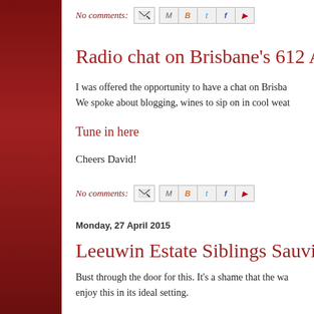No comments:
Radio chat on Brisbane's 612 ABC
I was offered the opportunity to have a chat on Brisbane's We spoke about blogging, wines to sip on in cool weat
Tune in here
Cheers David!
No comments:
Monday, 27 April 2015
Leeuwin Estate Siblings Sauvignon Bl
Bust through the door for this. It's a shame that the wa enjoy this in its ideal setting.